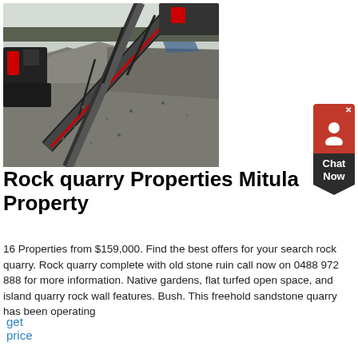[Figure (photo): Aerial view of a rock quarry with industrial conveyor belts transporting crushed stone/gravel, machinery visible, overcast sky in background.]
Rock quarry Properties Mitula Property
16 Properties from $159,000. Find the best offers for your search rock quarry. Rock quarry complete with old stone ruin call now on 0488 972 888 for more information. Native gardens, flat turfed open space, and island quarry rock wall features. Bush. This freehold sandstone quarry has been operating
get price